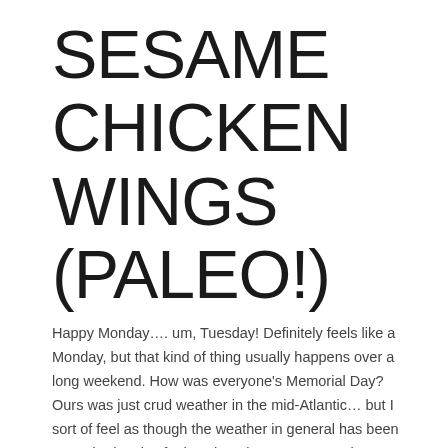SESAME CHICKEN WINGS (PALEO!)
Happy Monday…. um, Tuesday! Definitely feels like a Monday, but that kind of thing usually happens over a long weekend. How was everyone's Memorial Day? Ours was just crud weather in the mid-Atlantic… but I sort of feel as though the weather in general has been pretty bad. I also feel as though I've prematurely …